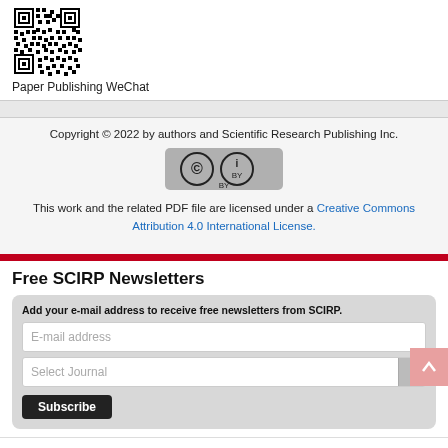[Figure (other): QR code for Paper Publishing WeChat]
Paper Publishing WeChat
Copyright © 2022 by authors and Scientific Research Publishing Inc.
[Figure (logo): Creative Commons BY license badge]
This work and the related PDF file are licensed under a Creative Commons Attribution 4.0 International License.
Free SCIRP Newsletters
Add your e-mail address to receive free newsletters from SCIRP.
Home
About SCIRP